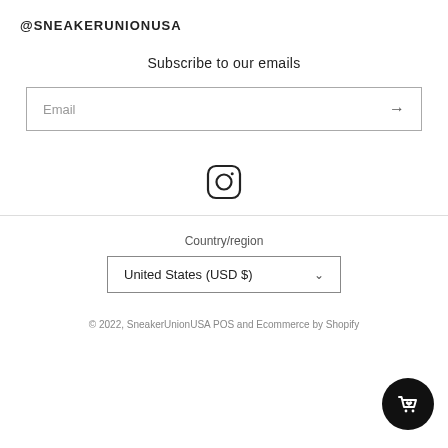@SNEAKERUNIONUSA
Subscribe to our emails
Email
[Figure (logo): Instagram icon — rounded square outline with circle inside and dot]
Country/region
United States (USD $)
© 2022, SneakerUnionUSA POS and Ecommerce by Shopify
[Figure (illustration): Black circular shopping cart with heart icon button]